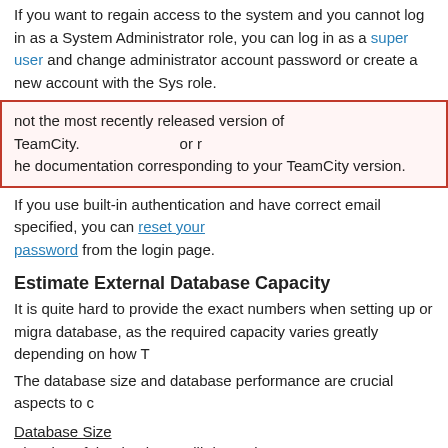If you want to regain access to the system and you cannot log in as a System Administrator role, you can log in as a super user and change administrator account password or create a new account with the System Administrator role.
not the most recently released version of TeamCity. or r he documentation corresponding to your TeamCity version.
If you use built-in authentication and have correct email specified, you can reset password from the login page.
Estimate External Database Capacity
It is quite hard to provide the exact numbers when setting up or migrating a database, as the required capacity varies greatly depending on how T
The database size and database performance are crucial aspects to c
Database Size
The size of the database will depend on:
how many builds are started every day
how many test are reported from builds
clean-up rules (retention policy)